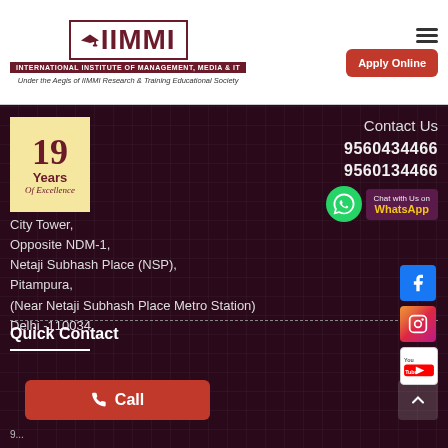[Figure (logo): IIMMI logo with graduation cap, institute full name banner, and aegis text]
Apply Online
[Figure (infographic): 19 Years Of Excellence badge in golden yellow with dark red text]
Contact Us
9560434466
9560134466
[Figure (infographic): WhatsApp Chat button with green WhatsApp icon and text Chat with Us on WhatsApp]
City Tower,
Opposite NDM-1,
Netaji Subhash Place (NSP),
Pitampura,
(Near Netaji Subhash Place Metro Station)
Delhi -110034
[Figure (logo): Facebook, Instagram and YouTube social media icons]
Quick Contact
[Figure (infographic): Call button with phone icon and text Call]